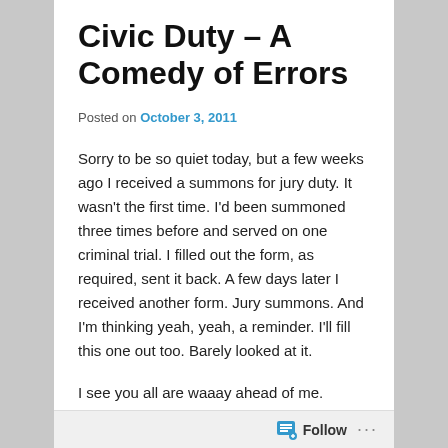Civic Duty – A Comedy of Errors
Posted on October 3, 2011
Sorry to be so quiet today, but a few weeks ago I received a summons for jury duty. It wasn't the first time. I'd been summoned three times before and served on one criminal trial. I filled out the form, as required, sent it back. A few days later I received another form. Jury summons. And I'm thinking yeah, yeah, a reminder. I'll fill this one out too. Barely looked at it.
I see you all are waaay ahead of me.
That's right. I had summons from two entirely different courts. The County Circuit Court, which was the only one I was familiar with—and the Federal District Court. And, of
Follow ...